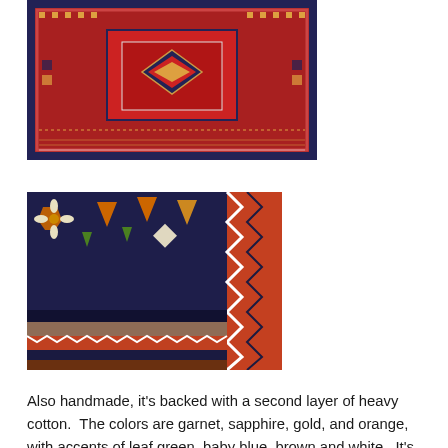[Figure (photo): Close-up photograph of a red and blue Persian/Oriental-style rug showing geometric medallion patterns and border details]
[Figure (photo): Close-up photograph of a dark navy blue rug corner with orange, white, cream, green and red geometric motifs and chevron border patterns]
Also handmade, it's backed with a second layer of heavy cotton.  The colors are garnet, sapphire, gold, and orange, with accents of leaf green, baby blue, brown and white.  It's no where near as thick as the wool rug, but it shines like a jewel.  It won't last as long as the knotted rug, and